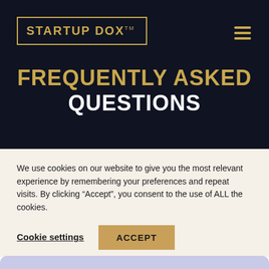[Figure (logo): Startup DOX logo with gold rectangular border and gold text reading STARTUP DOX with TM superscript, on dark navy background]
FREQUENTLY ASKED QUESTIONS
We use cookies on our website to give you the most relevant experience by remembering your preferences and repeat visits. By clicking “Accept”, you consent to the use of ALL the cookies.
Cookie settings   ACCEPT